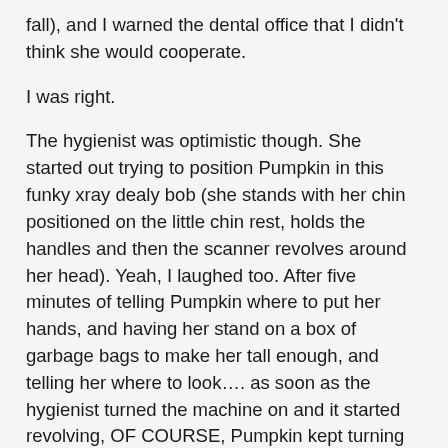fall), and I warned the dental office that I didn't think she would cooperate.
I was right.
The hygienist was optimistic though. She started out trying to position Pumpkin in this funky xray dealy bob (she stands with her chin positioned on the little chin rest, holds the handles and then the scanner revolves around her head). Yeah, I laughed too. After five minutes of telling Pumpkin where to put her hands, and having her stand on a box of garbage bags to make her tall enough, and telling her where to look…. as soon as the hygienist turned the machine on and it started revolving, OF COURSE, Pumpkin kept turning her head to see where it was going. Consequently, her x-ray was not at all clear, not at all useful (for anything other than my amusement). Back to the exam room where Pumpkin did NOT want to sit in the